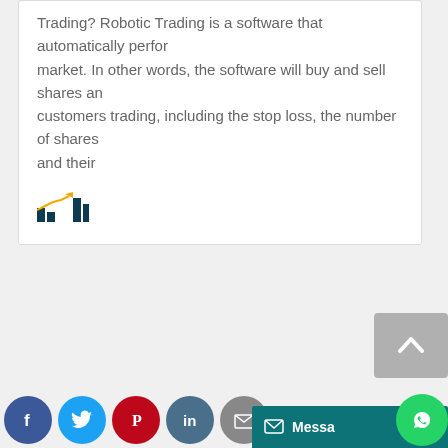Trading? Robotic Trading is a software that automatically performs in the market. In other words, the software will buy and sell shares and customers trading, including the stop loss, the number of shares and their
[Figure (logo): Small bar chart logo icon with orange and dark teal colors]
[Figure (other): Scroll-to-top button with upward chevron on grey background]
[Figure (other): Social media share icons row: Facebook, Twitter, Pinterest, LinkedIn, Email]
[Figure (other): Messenger bar with envelope icon and text 'Messa...' on dark teal background, with WhatsApp circle icon and orange Translate bar]